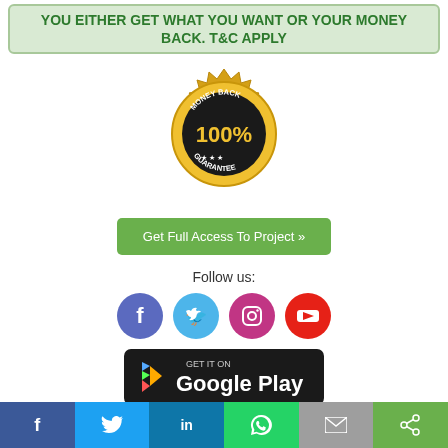YOU EITHER GET WHAT YOU WANT OR YOUR MONEY BACK. T&C APPLY
[Figure (illustration): Gold money-back guarantee badge with '100%' in center, 'MONEY BACK' at top, 'GUARANTEE' at bottom with stars]
Get Full Access To Project »
Follow us:
[Figure (illustration): Social media icons: Facebook (blue-purple circle), Twitter (light blue circle), Instagram (purple circle), YouTube (red circle)]
[Figure (illustration): Google Play store badge - black rounded rectangle with 'GET IT ON Google Play' text and Play Store triangle logo]
[Figure (illustration): Share bar at bottom with 6 colored buttons: Facebook (blue), Twitter (light blue), LinkedIn (teal), WhatsApp (green), Email (gray), Share (green)]